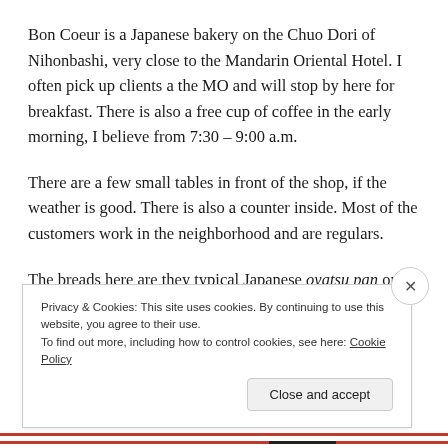Bon Coeur is a Japanese bakery on the Chuo Dori of Nihonbashi, very close to the Mandarin Oriental Hotel. I often pick up clients a the MO and will stop by here for breakfast. There is also a free cup of coffee in the early morning, I believe from 7:30 – 9:00 a.m.
There are a few small tables in front of the shop, if the weather is good. There is also a counter inside. Most of the customers work in the neighborhood and are regulars.
The breads here are they typical Japanese oyatsu pan or snack
Privacy & Cookies: This site uses cookies. By continuing to use this website, you agree to their use.
To find out more, including how to control cookies, see here: Cookie Policy
Close and accept